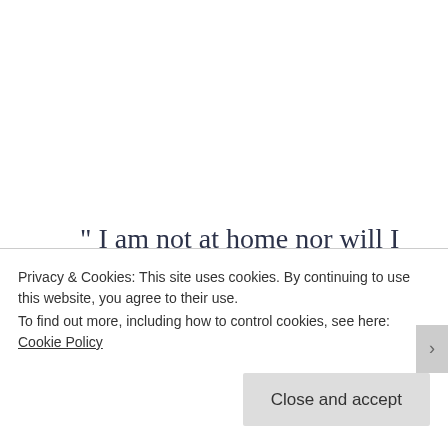“ I am not at home nor will I go back there till the bats are gone from my house, I am so scared of
Privacy & Cookies: This site uses cookies. By continuing to use this website, you agree to their use. To find out more, including how to control cookies, see here: Cookie Policy
Close and accept